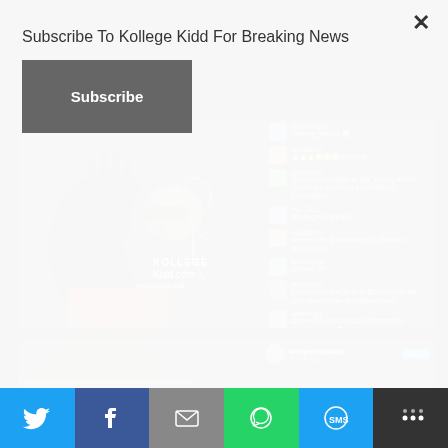Subscribe To Kollege Kidd For Breaking News
Subscribe
[Figure (screenshot): Video still showing two people, one with dreadlocks and sunglasses, with Kollege Kidd watermark, alongside Instagram-style live chat comments]
[Figure (screenshot): Partial second video/post block showing andymilonakis profile with Follow button]
Twitter, Facebook, Email, WhatsApp, SMS, More share buttons bar